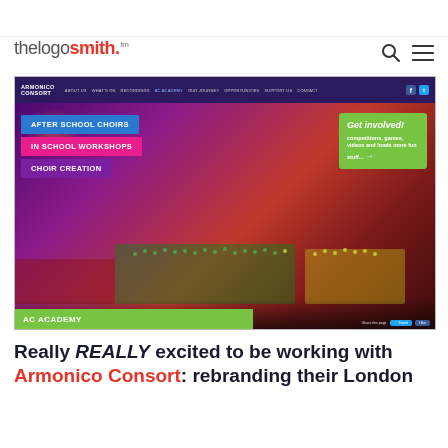thelogosmith™
[Figure (screenshot): Screenshot of the Armonico Consort AC Academy webpage showing navigation bar, concert hall photo with choir, colored buttons for After School Choirs, In School Workshops, Choir Creation, a Get Involved callout box, AC Academy green bar at bottom, and social share buttons.]
Really REALLY excited to be working with Armonico Consort: rebranding their London